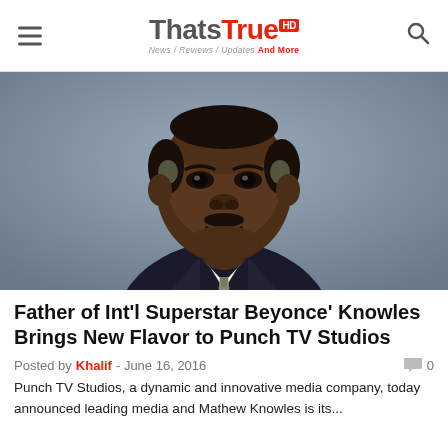ThatsTrue HD — News / Reviews / Updates And More
[Figure (photo): Portrait photo of a middle-aged Black man in a dark pinstripe suit and tie, smiling, against a grey background. Likely Mathew Knowles.]
Father of Int'l Superstar Beyonce' Knowles Brings New Flavor to Punch TV Studios
Posted by Khalif - June 16, 2016   0
Punch TV Studios, a dynamic and innovative media company, today announced leading media and Mathew Knowles is its...